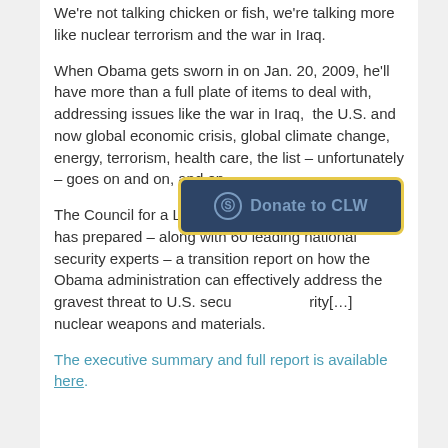We're not talking chicken or fish, we're talking more like nuclear terrorism and the war in Iraq.
When Obama gets sworn in on Jan. 20, 2009, he'll have more than a full plate of items to deal with, addressing issues like the war in Iraq,  the U.S. and now global economic crisis, global climate change, energy, terrorism, health care, the list – unfortunately – goes on and on, and on.
The Council for a Livable World's research center has prepared – along with 60 leading national security experts – a transition report on how the Obama administration can effectively address the gravest threat to U.S. secu[rity:] nuclear weapons and materials.
[Figure (other): Donate to CLW button with circular dollar sign icon, dark navy background with yellow/gold border]
The executive summary and full report is available here.